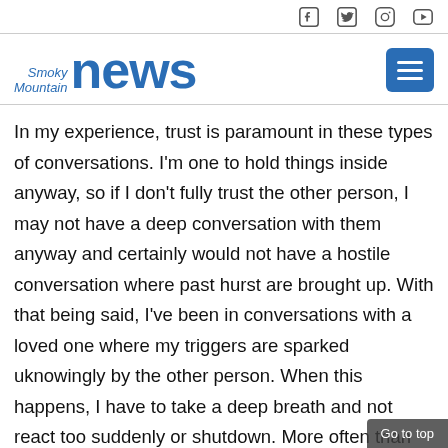Social media icons: Facebook, Twitter, Instagram, YouTube
[Figure (logo): Smoky Mountain News logo with menu button]
In my experience, trust is paramount in these types of conversations. I'm one to hold things inside anyway, so if I don't fully trust the other person, I may not have a deep conversation with them anyway and certainly would not have a hostile conversation where past hurst are brought up. With that being said, I've been in conversations with a loved one where my triggers are sparked uknowingly by the other person. When this happens, I have to take a deep breath and not react too suddenly or shutdown. More often than not, my parnter or loved one doesn't even know what they've said
Go to top